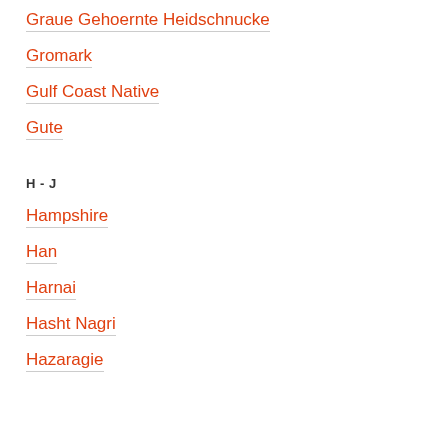Graue Gehoernte Heidschnucke
Gromark
Gulf Coast Native
Gute
H - J
Hampshire
Han
Harnai
Hasht Nagri
Hazaragie